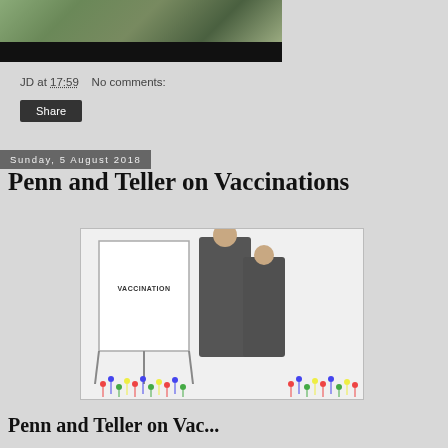[Figure (photo): Top portion of a photo with dark/black bar at bottom, partially visible]
JD at 17:59   No comments:
Share
Sunday, 5 August 2018
Penn and Teller on Vaccinations
[Figure (photo): Photo of two men in suits standing next to a whiteboard that reads VACCINATION, with colorful figurines arranged in front of them]
Penn and Teller on Vaccinations (partial, cut off at bottom)